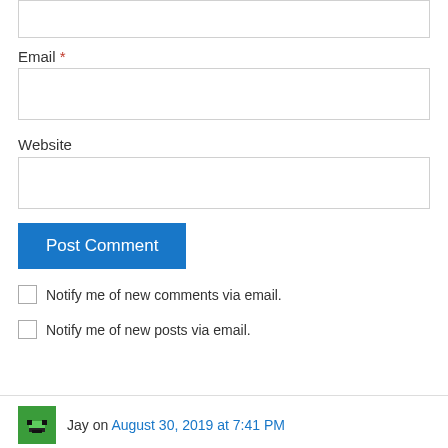Email *
Website
Post Comment
Notify me of new comments via email.
Notify me of new posts via email.
Jay on August 30, 2019 at 7:41 PM